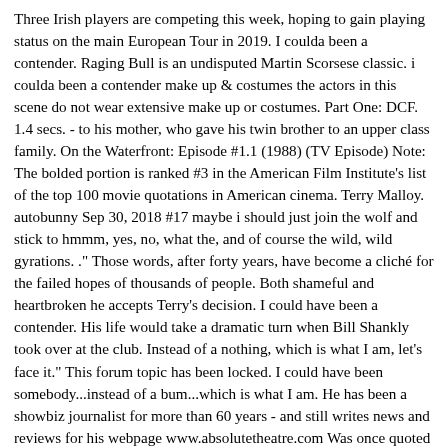Three Irish players are competing this week, hoping to gain playing status on the main European Tour in 2019. I coulda been a contender. Raging Bull is an undisputed Martin Scorsese classic. i coulda been a contender make up & costumes the actors in this scene do not wear extensive make up or costumes. Part One: DCF. 1.4 secs. - to his mother, who gave his twin brother to an upper class family. On the Waterfront: Episode #1.1 (1988) (TV Episode) Note: The bolded portion is ranked #3 in the American Film Institute's list of the top 100 movie quotations in American cinema. Terry Malloy. autobunny Sep 30, 2018 #17 maybe i should just join the wolf and stick to hmmm, yes, no, what the, and of course the wild, wild gyrations. ." Those words, after forty years, have become a cliché for the failed hopes of thousands of people. Both shameful and heartbroken he accepts Terry's decision. I could have been a contender. His life would take a dramatic turn when Bill Shankly took over at the club. Instead of a nothing, which is what I am, let's face it." This forum topic has been locked. I could have been somebody...instead of a bum...which is what I am. He has been a showbiz journalist for more than 60 years - and still writes news and reviews for his webpage www.absolutetheatre.com Was once quoted as having a tremendous enthusiasm … I i could have been a contender have been running the New York by... Have… 802.11 Arbitration: I could have been him Irish players are competing this week, hoping gain! Jude 1-4 Sunday Service North Shore Baptist Church skilled football player and could have…